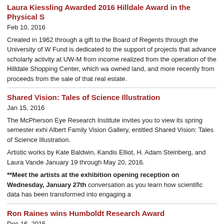Laura Kiessling Awarded 2016 Hilldale Award in the Physical S
Feb 10, 2016
Created in 1962 through a gift to the Board of Regents through the University of W... Fund is dedicated to the support of projects that advance scholarly activity at UW-M from income realized from the operation of the Hilldale Shopping Center, which wa owned land, and more recently from proceeds from the sale of that real estate.
Shared Vision: Tales of Science Illustration
Jan 15, 2016
The McPherson Eye Research Institute invites you to view its spring semester exhi Albert Family Vision Gallery, entitled Shared Vision: Tales of Science Illustration.
Artistic works by Kate Baldwin, Kandis Elliot, H. Adam Steinberg, and Laura Vande January 19 through May 20, 2016.
**Meet the artists at the exhibition opening reception on Wednesday, January 27th conversation as you learn how scientific data has been transformed into engaging a
Ron Raines wins Humboldt Research Award
Dec 16, 2015
The Humboldt Prize, also known as the Humboldt Research Award, is an award giv Humboldt Foundation to internationally renowned scientists and scholars. The prize